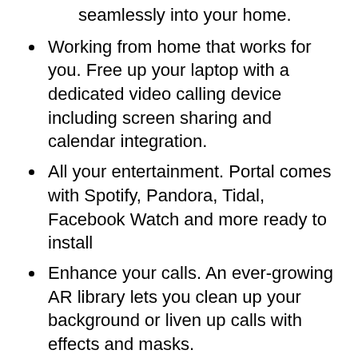seamlessly into your home.
Working from home that works for you. Free up your laptop with a dedicated video calling device including screen sharing and calendar integration.
All your entertainment. Portal comes with Spotify, Pandora, Tidal, Facebook Watch and more ready to install
Enhance your calls. An ever-growing AR library lets you clean up your background or liven up calls with effects and masks.
See and do more with Alexa Built-in. Control your smart home, listen to your favorite music, watch the news, get the weather, set a timer and more.
Privacy by design. Easily disable the